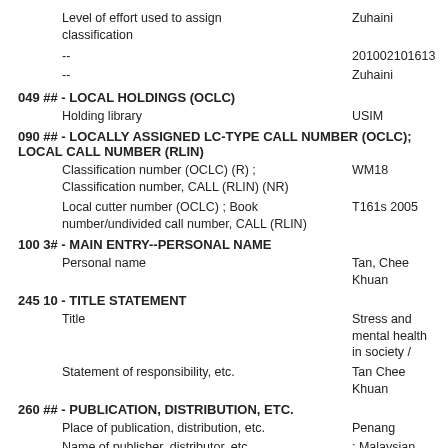Level of effort used to assign classification    Zuhaini
--    201002101613
--    Zuhaini
049 ## - LOCAL HOLDINGS (OCLC)
Holding library    USIM
090 ## - LOCALLY ASSIGNED LC-TYPE CALL NUMBER (OCLC); LOCAL CALL NUMBER (RLIN)
Classification number (OCLC) (R) ; Classification number, CALL (RLIN) (NR)    WM18
Local cutter number (OCLC) ; Book number/undivided call number, CALL (RLIN)    T161s 2005
100 3# - MAIN ENTRY--PERSONAL NAME
Personal name    Tan, Chee Khuan
245 10 - TITLE STATEMENT
Title    Stress and mental health in society /
Statement of responsibility, etc.    Tan Chee Khuan
260 ## - PUBLICATION, DISTRIBUTION, ETC.
Place of publication, distribution, etc.    Penang
Name of publisher, distributor, etc.    ; Malaysian Medical